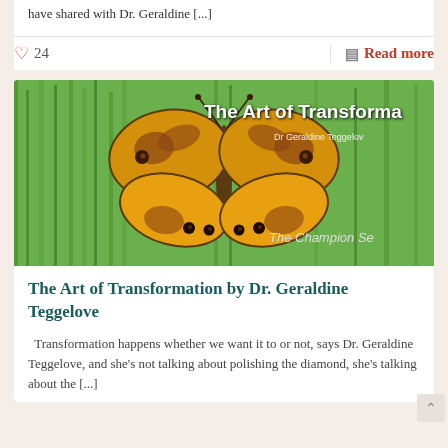have shared with Dr. Geraldine [...]
♡ 24
Read more
[Figure (photo): A yellow and brown patterned butterfly with wings spread open, resting on green grass. Overlaid text reads 'The Art of Transforma' and 'Dr Geraldine Teggelov' and 'The Champion Se'.]
The Art of Transformation by Dr. Geraldine Teggelove
Transformation happens whether we want it to or not, says Dr. Geraldine Teggelove, and she's not talking about polishing the diamond, she's talking about the [...]